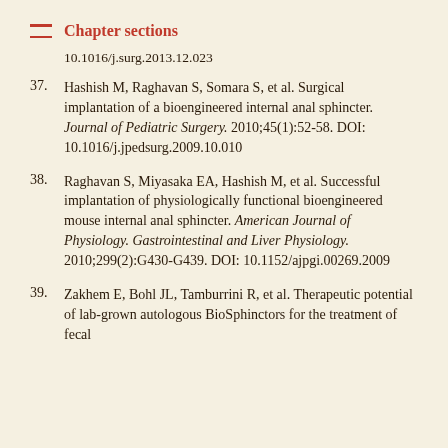Chapter sections
10.1016/j.surg.2013.12.023
37. Hashish M, Raghavan S, Somara S, et al. Surgical implantation of a bioengineered internal anal sphincter. Journal of Pediatric Surgery. 2010;45(1):52-58. DOI: 10.1016/j.jpedsurg.2009.10.010
38. Raghavan S, Miyasaka EA, Hashish M, et al. Successful implantation of physiologically functional bioengineered mouse internal anal sphincter. American Journal of Physiology. Gastrointestinal and Liver Physiology. 2010;299(2):G430-G439. DOI: 10.1152/ajpgi.00269.2009
39. Zakhem E, Bohl JL, Tamburrini R, et al. Therapeutic potential of lab-grown autologous BioSphinctors for the treatment of fecal